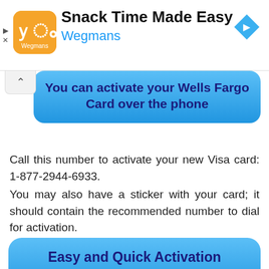[Figure (screenshot): Advertisement banner for Wegmans 'Snack Time Made Easy' app with orange logo, navigation arrow icon, and play/close controls on the left.]
You can activate your Wells Fargo Card over the phone
Call this number to activate your new Visa card: 1-877-2944-6933.
You may also have a sticker with your card; it should contain the recommended number to dial for activation.
Easy and Quick Activation Instructions